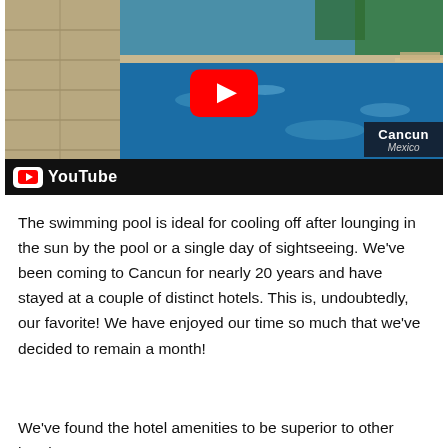[Figure (screenshot): YouTube video thumbnail showing a blue swimming pool at a hotel in Cancun, Mexico. A large red YouTube play button is centered on the image. In the bottom-right corner there is a dark overlay showing 'Cancun' and 'Mexico' text, and a YouTube logo bar at the very bottom.]
The swimming pool is ideal for cooling off after lounging in the sun by the pool or a single day of sightseeing. We've been coming to Cancun for nearly 20 years and have stayed at a couple of distinct hotels. This is, undoubtedly, our favorite! We have enjoyed our time so much that we've decided to remain a month!
We've found the hotel amenities to be superior to other hotels...